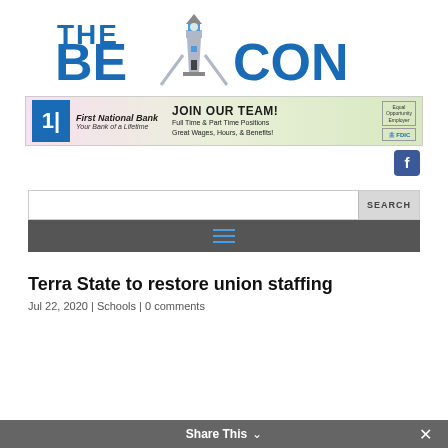[Figure (logo): The Beacon newspaper logo — large blue bold text 'THE BEACON' with a lighthouse graphic replacing the letter A]
[Figure (infographic): First National Bank banner ad — 'Your Bank of a Lifetime' with 'JOIN OUR TEAM! Full Time & Part Time Positions Great Wages, Hours, & Benefits!' on a floral background]
[Figure (logo): Facebook icon button — blue square with white letter f]
[Figure (screenshot): Search bar with SEARCH button on right]
[Figure (screenshot): Dark gray navigation bar with blue hamburger menu icon]
Terra State to restore union staffing
Jul 22, 2020 | Schools | 0 comments
Share This